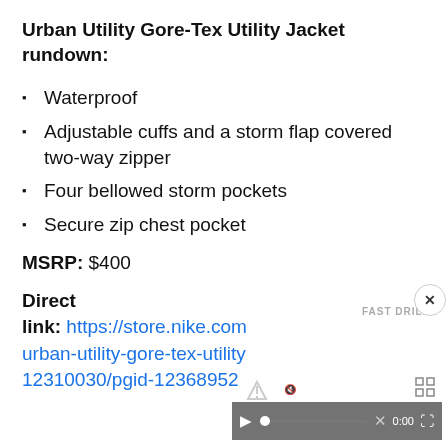Urban Utility Gore-Tex Utility Jacket rundown:
Waterproof
Adjustable cuffs and a storm flap covered two-way zipper
Four bellowed storm pockets
Secure zip chest pocket
MSRP: $400
Direct link: https://store.nike.com urban-utility-gore-tex-utility 12310030/pgid-12368952